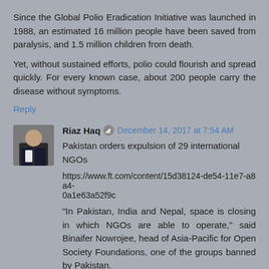Since the Global Polio Eradication Initiative was launched in 1988, an estimated 16 million people have been saved from paralysis, and 1.5 million children from death.
Yet, without sustained efforts, polio could flourish and spread quickly. For every known case, about 200 people carry the disease without symptoms.
Reply
Riaz Haq  December 14, 2017 at 7:54 AM
Pakistan orders expulsion of 29 international NGOs
https://www.ft.com/content/15d38124-de54-11e7-a8a4-0a1e63a52f9c
“In Pakistan, India and Nepal, space is closing in which NGOs are able to operate,” said Binaifer Nowrojee, head of Asia-Pacific for Open Society Foundations, one of the groups banned by Pakistan.